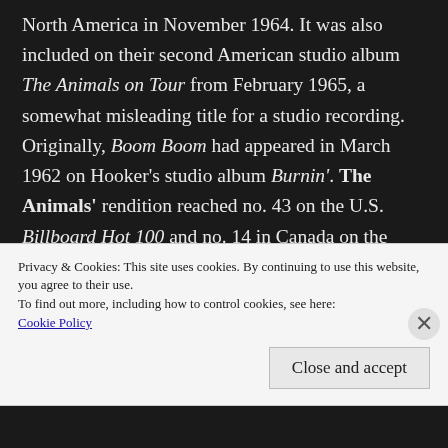North America in November 1964. It was also included on their second American studio album The Animals on Tour from February 1965, a somewhat misleading title for a studio recording. Originally, Boom Boom had appeared in March 1962 on Hooker's studio album Burnin'. The Animals' rendition reached no. 43 on the U.S. Billboard Hot 100 and no. 14 in Canada on the RPM Top 40 & 5 singles chart. Hooker's original peaked at no. 60 on the Billboard Hot 100, only one of two of his songs
Privacy & Cookies: This site uses cookies. By continuing to use this website, you agree to their use.
To find out more, including how to control cookies, see here:
Cookie Policy
Close and accept